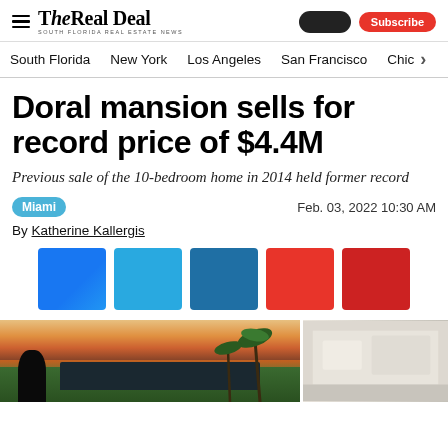The Real Deal — South Florida Real Estate News
South Florida  New York  Los Angeles  San Francisco  Chic
Doral mansion sells for record price of $4.4M
Previous sale of the 10-bedroom home in 2014 held former record
Miami   Feb. 03, 2022 10:30 AM
By Katherine Kallergis
[Figure (infographic): Five social sharing buttons: three blue (Facebook, Twitter, LinkedIn) and two red (Email, Print)]
[Figure (photo): Two photos: left shows a modern mansion exterior at sunset with palm trees and a person in foreground; right shows a bright interior room]